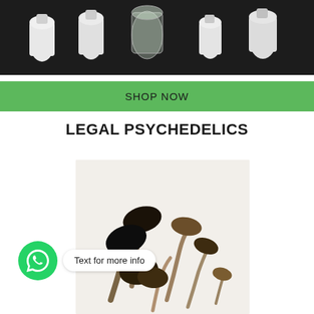[Figure (photo): Top-down photo of white bottles and glass containers on a dark black background]
SHOP NOW
LEGAL PSYCHEDELICS
[Figure (photo): Photo of dried psilocybin mushrooms on a light/white background]
Text for more info